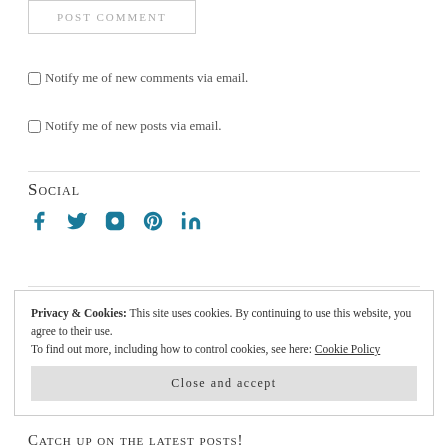POST COMMENT
Notify me of new comments via email.
Notify me of new posts via email.
Social
[Figure (infographic): Social media icons: Facebook, Twitter, Instagram, Pinterest, LinkedIn in teal/dark blue color]
Privacy & Cookies: This site uses cookies. By continuing to use this website, you agree to their use. To find out more, including how to control cookies, see here: Cookie Policy
Close and accept
Catch up on the latest posts!